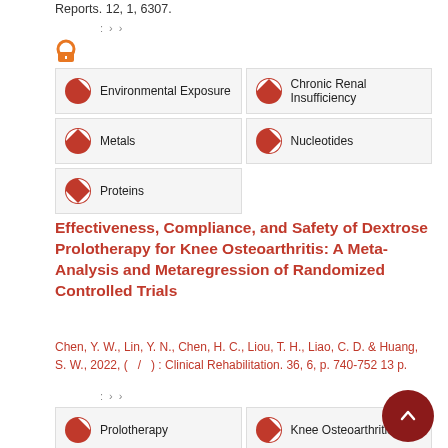Reports. 12, 1, 6307.
[Figure (other): Open access icon (orange lock symbol)]
Environmental Exposure
Chronic Renal Insufficiency
Metals
Nucleotides
Proteins
Effectiveness, Compliance, and Safety of Dextrose Prolotherapy for Knee Osteoarthritis: A Meta-Analysis and Metaregression of Randomized Controlled Trials
Chen, Y. W., Lin, Y. N., Chen, H. C., Liou, T. H., Liao, C. D. & Huang, S. W., 2022, ( / ) : Clinical Rehabilitation. 36, 6, p. 740-752 13 p.
Prolotherapy
Knee Osteoarthritis
Compliance
Meta-Analysis